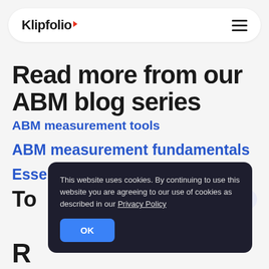Klipfolio (logo with navigation hamburger menu)
Read more from our ABM blog series
ABM measurement tools
ABM measurement fundamentals
Essential ABM metrics
To [partially obscured] Metrics
This website uses cookies. By continuing to use this website you are agreeing to our use of cookies as described in our Privacy Policy
OK (button)
R (partially visible)